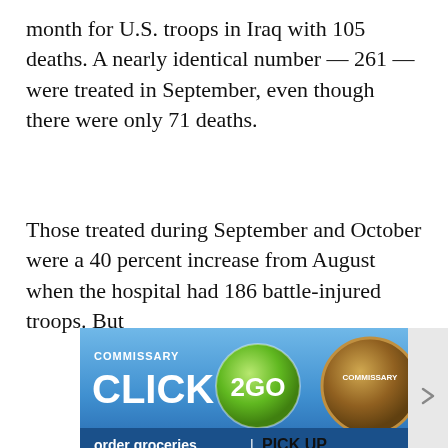month for U.S. troops in Iraq with 105 deaths. A nearly identical number — 261 — were treated in September, even though there were only 71 deaths.
Those treated during September and October were a 40 percent increase from August when the hospital had 186 battle-injured troops. But
[Figure (screenshot): Advertisement banner for Commissary Click2Go service with green circular logo and commissary badge logo on blue gradient background with text 'order groceries | PICK UP']
Articles left: 4
Subscribe to get unlimited access  Subscribe
Already have an account?  Login here